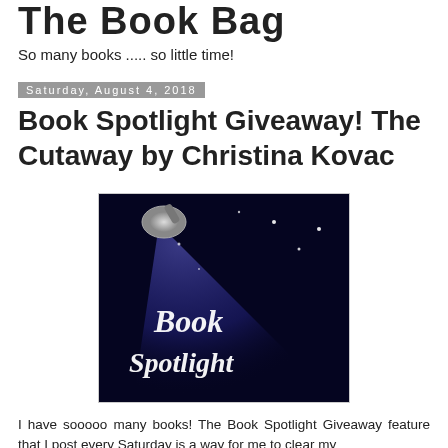The Book Bag
So many books ..... so little time!
Saturday, August 4, 2018
Book Spotlight Giveaway! The Cutaway by Christina Kovac
[Figure (illustration): Book Spotlight promotional image: a stage spotlight beam on a dark blue/black background with stars, with the text 'Book Spotlight' in white cursive lettering]
I have sooooo many books! The Book Spotlight Giveaway feature that I post every Saturday is a way for me to clear my